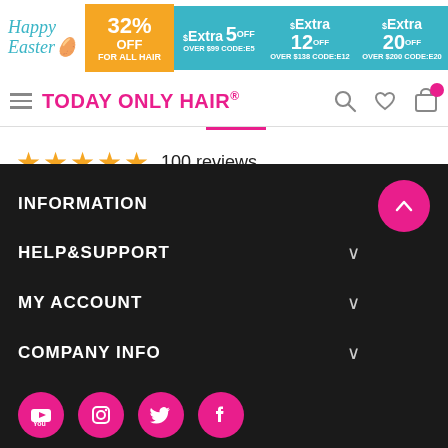[Figure (screenshot): E-commerce website header banner for Today Only Hair with Happy Easter promotion, 32% OFF for all hair, Extra $5 OFF over $99 CODE:E5, Extra $12 OFF over $138 CODE:E12, Extra $20 OFF over $200 CODE:E20]
TODAY ONLY HAIR®
★★★★★  100 reviews
Show  12
INFORMATION
HELP&SUPPORT
MY ACCOUNT
COMPANY INFO
[Figure (illustration): Social media icons: YouTube, Instagram, Twitter, Facebook in pink circles]